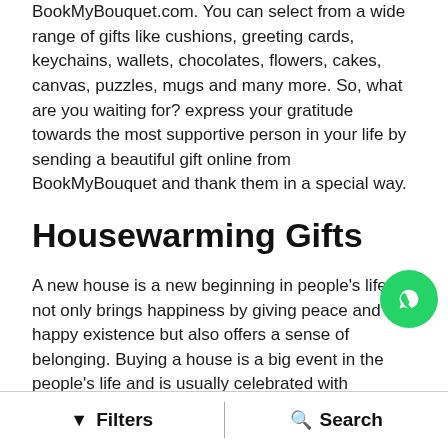BookMyBouquet.com. You can select from a wide range of gifts like cushions, greeting cards, keychains, wallets, chocolates, flowers, cakes, canvas, puzzles, mugs and many more. So, what are you waiting for? express your gratitude towards the most supportive person in your life by sending a beautiful gift online from BookMyBouquet and thank them in a special way.
Housewarming Gifts
A new house is a new beginning in people's life. It not only brings happiness by giving peace and happy existence but also offers a sense of belonging. Buying a house is a big event in the people's life and is usually celebrated with tremendous joy and excitement. So its important for you choose a housewarming gift that can give a special surprise to your loved ones. We have got numerous wide range of gifts for home, kitchen, bar and you can also choose from the…
Filters | Search